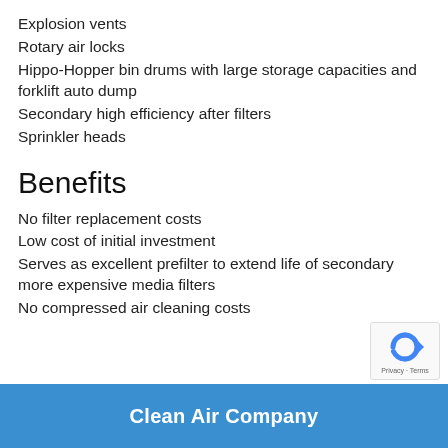Explosion vents
Rotary air locks
Hippo-Hopper bin drums with large storage capacities and forklift auto dump
Secondary high efficiency after filters
Sprinkler heads
Benefits
No filter replacement costs
Low cost of initial investment
Serves as excellent prefilter to extend life of secondary more expensive media filters
No compressed air cleaning costs
Clean Air Company